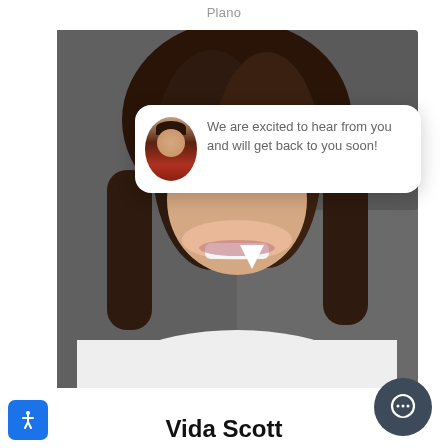Plano
[Figure (photo): Headshot photo of Vida Scott, a woman with dark brown shoulder-length hair wearing a white shirt, with a chat bubble overlay saying 'We are excited to hear from you and will get back to you soon!']
Vida Scott